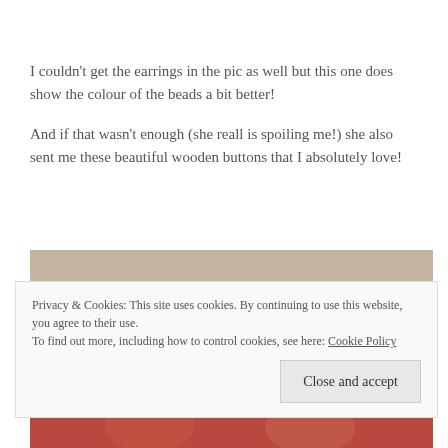I couldn't get the earrings in the pic as well but this one does show the colour of the beads a bit better!
And if that wasn't enough (she reall is spoiling me!) she also sent me these beautiful wooden buttons that I absolutely love!
[Figure (photo): Photo of decorative wooden buttons with red floral pattern on a beige background]
Privacy & Cookies: This site uses cookies. By continuing to use this website, you agree to their use.
To find out more, including how to control cookies, see here: Cookie Policy
Close and accept